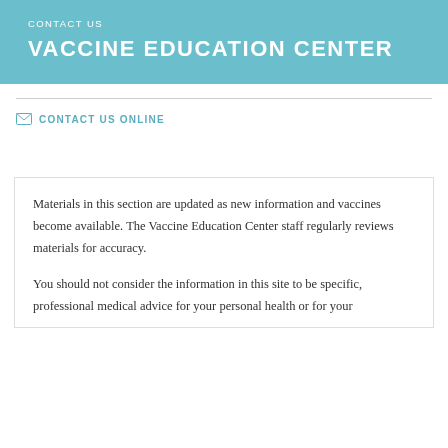CONTACT US
VACCINE EDUCATION CENTER
CONTACT US ONLINE
Materials in this section are updated as new information and vaccines become available. The Vaccine Education Center staff regularly reviews materials for accuracy.
You should not consider the information in this site to be specific, professional medical advice for your personal health or for your